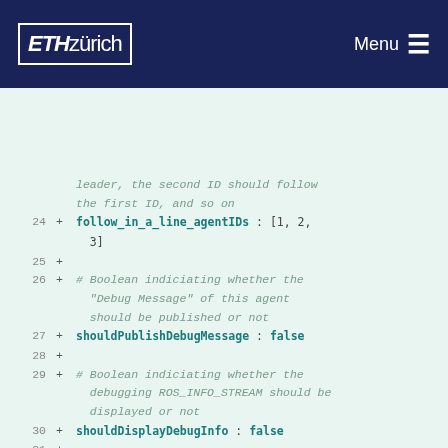ETH zürich  Menu
leader, the second ID should follow the first ID, and so on
24 + follow_in_a_line_agentIDs : [1, 2, 3]
25 +
26 + # Boolean indiciating whether the "Debug Message" of this agent should be published or not
27 + shouldPublishDebugMessage : false
28 +
29 + # Boolean indiciating whether the debugging ROS_INFO_STREAM should be displayed or not
30 + shouldDisplayDebugInfo : false
31 +
32 + # A flag for which controller to use, defined as:
33 + # 1  -  LQR controller based on the state vector:
       [position,velocity,angles]